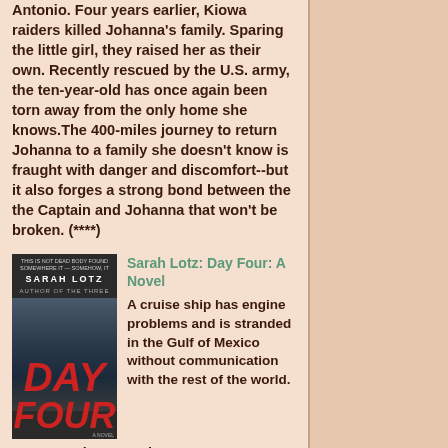Antonio. Four years earlier, Kiowa raiders killed Johanna's family. Sparing the little girl, they raised her as their own. Recently rescued by the U.S. army, the ten-year-old has once again been torn away from the only home she knows.The 400-miles journey to return Johanna to a family she doesn't know is fraught with danger and discomfort--but it also forges a strong bond between the the Captain and Johanna that won't be broken. (****)
[Figure (illustration): Book cover of 'Day Four: A Novel' by Sarah Lotz. Dark atmospheric cover with large red italic text 'DAY FOUR' in foreground against a dark stormy sky with a ship visible at bottom.]
Sarah Lotz: Day Four: A Novel
A cruise ship has engine problems and is stranded in the Gulf of Mexico without communication with the rest of the world. Among the more than 2,000 passengers, as part of the planned entertainment, is a psychic, her assistant, and a group of her followers. The fate of